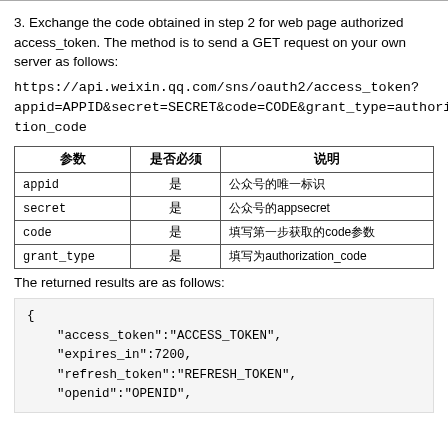3. Exchange the code obtained in step 2 for web page authorized access_token. The method is to send a GET request on your own server as follows:
https://api.weixin.qq.com/sns/oauth2/access_token?appid=APPID&secret=SECRET&code=CODE&grant_type=authorization_code
| 参数 | 是否必须 | 说明 |
| --- | --- | --- |
| appid | 是 | 公众号的唯一标识 |
| secret | 是 | 公众号的appsecret |
| code | 是 | 填写第一步获取的code参数 |
| grant_type | 是 | 填写为authorization_code |
The returned results are as follows:
{
    "access_token":"ACCESS_TOKEN",
    "expires_in":7200,
    "refresh_token":"REFRESH_TOKEN",
    "openid":"OPENID",